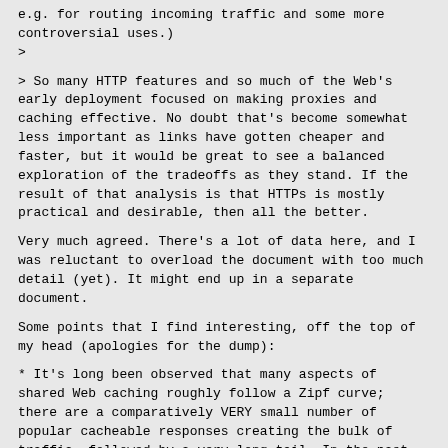e.g. for routing incoming traffic and some more controversial uses.)
>
> So many HTTP features and so much of the Web's early deployment focused on making proxies and caching effective. No doubt that's become somewhat less important as links have gotten cheaper and faster, but it would be great to see a balanced exploration of the tradeoffs as they stand. If the result of that analysis is that HTTPs is mostly practical and desirable, then all the better.
Very much agreed. There's a lot of data here, and I was reluctant to overload the document with too much detail (yet). It might end up in a separate document.
Some points that I find interesting, off the top of my head (apologies for the dump):
* It's long been observed that many aspects of shared Web caching roughly follow a Zipf curve; there are a comparatively VERY small number of popular cacheable responses creating the bulk of traffic, followed by a very long tail. In the past ~two years, much of the "head" has already been encrypted, with things like Facebook, Twitter, Google, Yahoo!, etc. taking the lead. Anecdotal evidence suggests that shared cache hit rates have